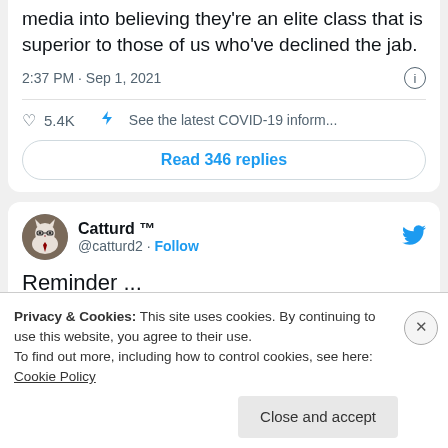media into believing they're an elite class that is superior to those of us who've declined the jab.
2:37 PM · Sep 1, 2021
5.4K  See the latest COVID-19 inform...
Read 346 replies
Catturd ™ @catturd2 · Follow
Reminder ...
Privacy & Cookies: This site uses cookies. By continuing to use this website, you agree to their use. To find out more, including how to control cookies, see here: Cookie Policy
Close and accept